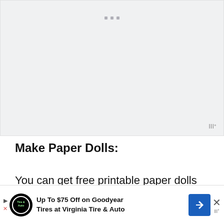[Figure (other): Blank advertisement placeholder area with light gray background and three small gray dots at top center, Mediavine logo at bottom right]
Make Paper Dolls:
You can get free printable paper dolls online as well. Kids can color them and then cut them out and dress them. Click here for free printables
[Figure (other): Advertisement banner: Up To $75 Off on Goodyear Tires at Virginia Tire & Auto, with tire logo, navigation arrow icon, and close X button]